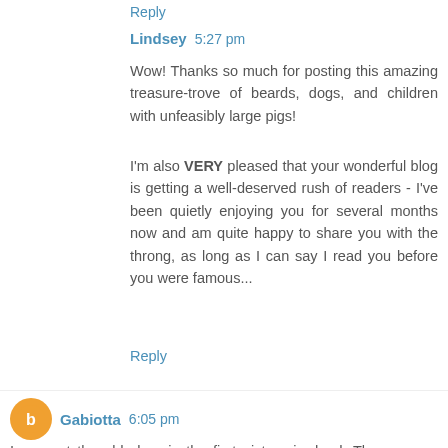Reply (partial, top)
Lindsey 5:27 pm
Wow! Thanks so much for posting this amazing treasure-trove of beards, dogs, and children with unfeasibly large pigs!
I'm also VERY pleased that your wonderful blog is getting a well-deserved rush of readers - I've been quietly enjoying you for several months now and am quite happy to share you with the throng, as long as I can say I read you before you were famous...
Reply
Gabiotta 6:05 pm
I suspect the old chap in the first picture is dead. There was a vogue for posed family portraits with corpses at the time and his eyes look rather painted on. With that in mind, look at his hands! Creeeeeepy!!!